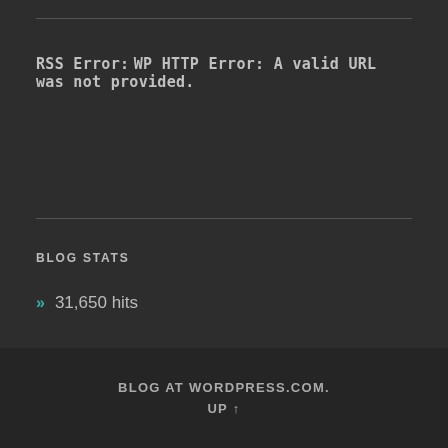RSS Error: WP HTTP Error: A valid URL was not provided.
BLOG STATS
» 31,650 hits
[Figure (other): WordPress Follow button: Follow Amnesty in Salisbury]
BLOG AT WORDPRESS.COM. UP ↑